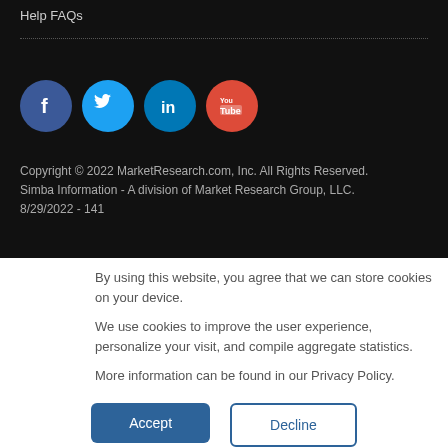Help FAQs
[Figure (illustration): Social media icons: Facebook (blue circle), Twitter (light blue circle), LinkedIn (teal circle), YouTube (red circle)]
Copyright © 2022 MarketResearch.com, Inc. All Rights Reserved.
Simba Information - A division of Market Research Group, LLC.
8/29/2022 - 141
By using this website, you agree that we can store cookies on your device.

We use cookies to improve the user experience, personalize your visit, and compile aggregate statistics.

More information can be found in our Privacy Policy.
Accept
Decline